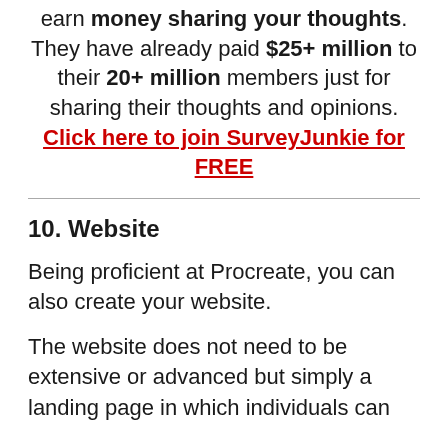earn money sharing your thoughts. They have already paid $25+ million to their 20+ million members just for sharing their thoughts and opinions. Click here to join SurveyJunkie for FREE
10. Website
Being proficient at Procreate, you can also create your website.
The website does not need to be extensive or advanced but simply a landing page in which individuals can